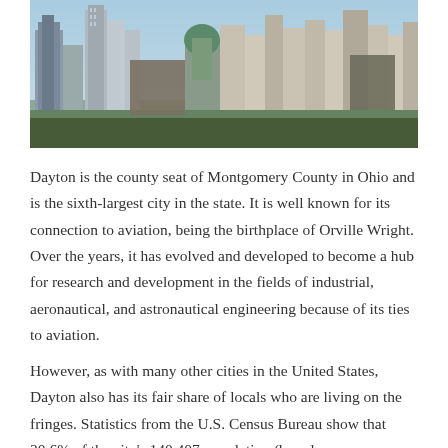[Figure (photo): Aerial/skyline photograph of Dayton, Ohio showing city buildings and skyscrapers including a distinctive green dome, set against a clear sky.]
Dayton is the county seat of Montgomery County in Ohio and is the sixth-largest city in the state. It is well known for its connection to aviation, being the birthplace of Orville Wright. Over the years, it has evolved and developed to become a hub for research and development in the fields of industrial, aeronautical, and astronautical engineering because of its ties to aviation.
However, as with many other cities in the United States, Dayton also has its fair share of locals who are living on the fringes. Statistics from the U.S. Census Bureau show that 30.6% of the city's 140,407 population (based on